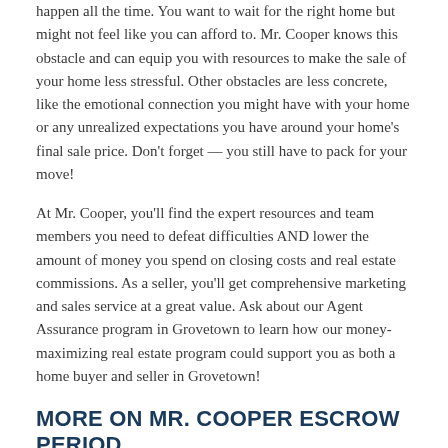happen all the time. You want to wait for the right home but might not feel like you can afford to. Mr. Cooper knows this obstacle and can equip you with resources to make the sale of your home less stressful. Other obstacles are less concrete, like the emotional connection you might have with your home or any unrealized expectations you have around your home's final sale price. Don't forget — you still have to pack for your move!
At Mr. Cooper, you'll find the expert resources and team members you need to defeat difficulties AND lower the amount of money you spend on closing costs and real estate commissions. As a seller, you'll get comprehensive marketing and sales service at a great value. Ask about our Agent Assurance program in Grovetown to learn how our money-maximizing real estate program could support you as both a home buyer and seller in Grovetown!
MORE ON MR. COOPER ESCROW PERIOD
Escrow period is a phrase you'll hear used throughout the homeownership journey, whether you're a home buyer or a seller. During an escrow period, a third party holds money (or something